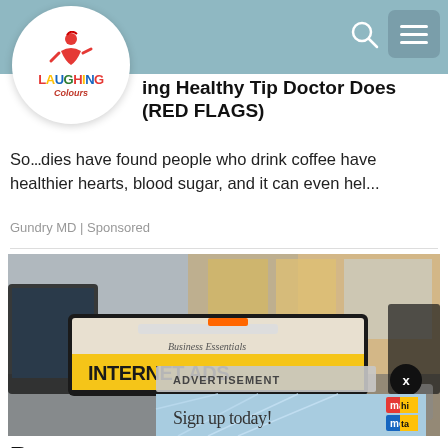[Figure (logo): Laughing Colours logo in circular white frame — stylized figure with colorful letters spelling LAUGHING Colours]
ing  Healthy  Tip Doctor Does (RED FLAGS)
So...dies have found people who drink coffee have healthier hearts, blood sugar, and it can even hel...
Gundry MD | Sponsored
[Figure (photo): Photo of a laptop on a desk in an office environment with warm backlit windows; the laptop screen shows a website with text 'Business Essentials' and 'INTERNET ADS'. An advertisement banner overlay at the bottom shows 'Sign up today!' with a blue geometric background and a logo. An 'ADVERTISEMENT' label and an X close button are visible.]
Rese